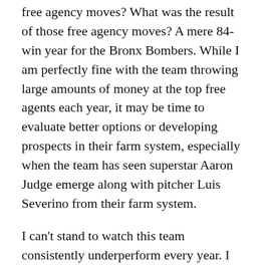free agency moves? A mere 84-win year for the Bronx Bombers. While I am perfectly fine with the team throwing large amounts of money at the top free agents each year, it may be time to evaluate better options or developing prospects in their farm system, especially when the team has seen superstar Aaron Judge emerge along with pitcher Luis Severino from their farm system.
I can't stand to watch this team consistently underperform every year. I can't stand watching the team lose to Boston and the little brother New York Mets, a group that finished fourth place in the N.L. East. With Boston advancing to the ALCS, Tampa Bay winning the division despite a disappointing loss to Boston and Toronto flexing a scary young core of Bo Bichette and Vladimir Guerrero Jr., the A.L. East is one of the scariest divisions in baseball. One of the greatest physicists of all time, Albert Einstein, once said,